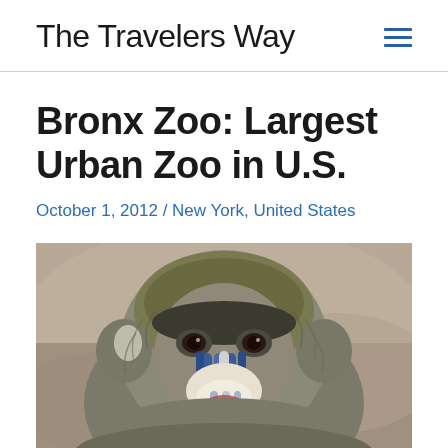The Travelers Way
Bronx Zoo: Largest Urban Zoo in U.S.
October 1, 2012 / New York, United States
[Figure (photo): Close-up photograph of a mandrill monkey face looking at the camera, with blue and white striped snout markings, dark eyes, and olive-green and gray fur]